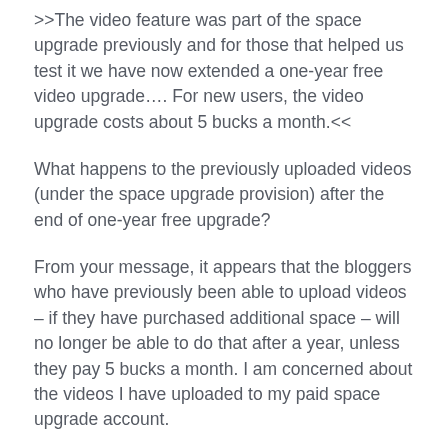>>The video feature was part of the space upgrade previously and for those that helped us test it we have now extended a one-year free video upgrade…. For new users, the video upgrade costs about 5 bucks a month.<<
What happens to the previously uploaded videos (under the space upgrade provision) after the end of one-year free upgrade?
From your message, it appears that the bloggers who have previously been able to upload videos – if they have purchased additional space – will no longer be able to do that after a year, unless they pay 5 bucks a month. I am concerned about the videos I have uploaded to my paid space upgrade account.
Thanks.